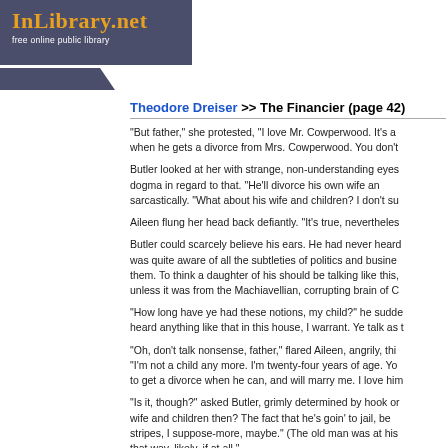[Figure (logo): InLibrary.net logo with dark blue-grey banner background, orange medieval-style text 'InLibrary.net' and white subtitle 'free online public library']
Theodore Dreiser >> The Financier (page 42)
"But father," she protested, "I love Mr. Cowperwood. It's a when he gets a divorce from Mrs. Cowperwood. You don't
Butler looked at her with strange, non-understanding eyes dogma in regard to that. "He'll divorce his own wife an sarcastically. "What about his wife and children? I don't su
Aileen flung her head back defiantly. "It's true, nevertheles
Butler could scarcely believe his ears. He had never hear was quite aware of all the subtleties of politics and busine them. To think a daughter of his should be talking like this, unless it was from the Machiavellian, corrupting brain of C
"How long have ye had these notions, my child?" he sudde heard anything like that in this house, I warrant. Ye talk as
"Oh, don't talk nonsense, father," flared Aileen, angrily, thi "I'm not a child any more. I'm twenty-four years of age. Yo to get a divorce when he can, and will marry me. I love him
"Is it, though?" asked Butler, grimly determined by hook o wife and children then? The fact that he's goin' to jail, be stripes, I suppose-more, maybe." (The old man was at his that way, likely, if at all."